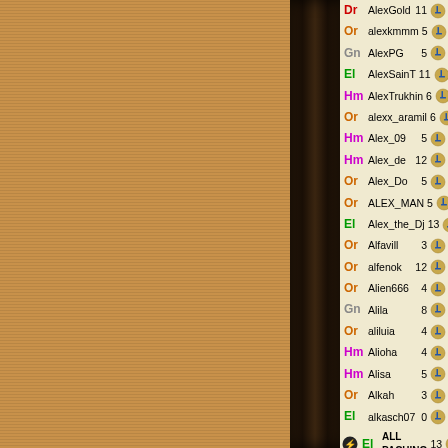[Figure (illustration): Left decorative panel with brown/tan textured background with horizontal stripe pattern. Center dark brown divider column. Right cream/beige panel with player list.]
Dr AlexGold 11
Or alexkmmm 5
Gn AlexPG 5
El AlexSainT 11
Hm AlexTrukhin 6
Or alexx_aramil 6
Hm Alex_09 5
Hm Alex_de 12
Or Alex_Do 5
Or ALEX_MAN 5
El Alex_the_Dj 13
Or Alfavill 3
Or alfenok 12
Or Alien666 4
Gn Alila 8
Or aliluia 4
Hm Alioha 4
Hm Alisa 5
Or Alkah 3
El alkasch07 0
El ALL PACHINO 13
Or all1.ru 3
Gn AllForMe 5